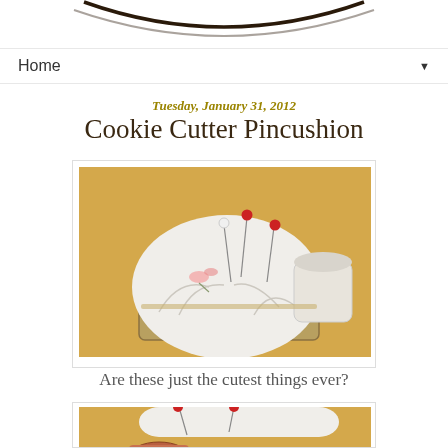[Figure (illustration): Partial logo/header graphic at top of blog page - black arc/smile shape visible at bottom of image]
Home ▼
Tuesday, January 31, 2012
Cookie Cutter Pincushion
[Figure (photo): A white fabric pincushion with floral embroidery sitting inside a rectangular metal cookie cutter, with several straight pins with red and white ball heads inserted into it, on a textured golden background]
Are these just the cutest things ever?
[Figure (photo): Second photo partially visible at bottom - showing close-up of pincushion with red-tipped pins, white and golden tones]